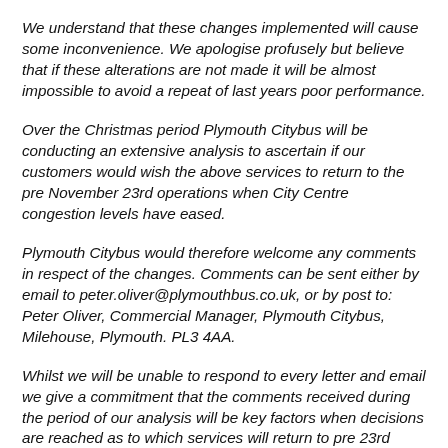We understand that these changes implemented will cause some inconvenience. We apologise profusely but believe that if these alterations are not made it will be almost impossible to avoid a repeat of last years poor performance.
Over the Christmas period Plymouth Citybus will be conducting an extensive analysis to ascertain if our customers would wish the above services to return to the pre November 23rd operations when City Centre congestion levels have eased.
Plymouth Citybus would therefore welcome any comments in respect of the changes. Comments can be sent either by email to peter.oliver@plymouthbus.co.uk, or by post to: Peter Oliver, Commercial Manager, Plymouth Citybus, Milehouse, Plymouth. PL3 4AA.
Whilst we will be unable to respond to every letter and email we give a commitment that the comments received during the period of our analysis will be key factors when decisions are reached as to which services will return to pre 23rd November operations once traffic congestion around Drake